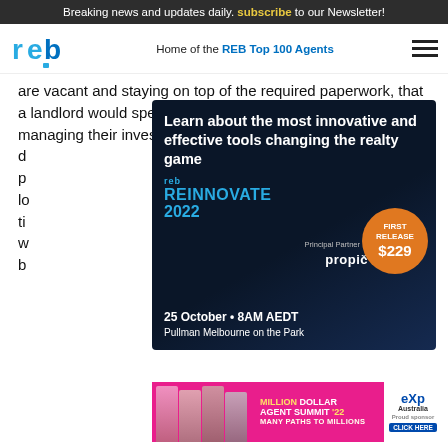Breaking news and updates daily. subscribe to our Newsletter!
Home of the REB Top 100 Agents
are vacant and staying on top of the required paperwork, that a landlord would spend around 20-30 solid hours on managing their investment p...sts d...$55 p...e a lo...nd the ti...ne w...or b...
[Figure (advertisement): Dark blue ad banner for REB Reinnovate 2022 conference. Headline: Learn about the most innovative and effective tools changing the realty game. Principal Partner: propic. First Release $229. 25 October • 8AM AEDT, Pullman Melbourne on the Park.]
While t...ill always be the naysayers who believe we charge exorbitant fees for doing very little, the points I raise with self-managing landlords are quite often points that th...anything...that
[Figure (advertisement): Pink/magenta banner ad for Million Dollar Agent Summit 22. Many Paths to Millions. eXp Australia. Click Here.]